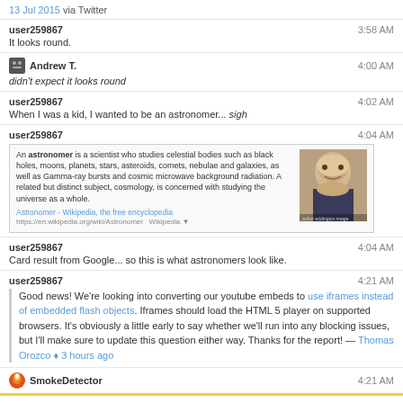13 Jul 2015 via Twitter
user259867
It looks round.
3:58 AM
Andrew T.
didn't expect it looks round
4:00 AM
user259867
When I was a kid, I wanted to be an astronomer... sigh
4:02 AM
[Figure (screenshot): Wikipedia card about Astronomer with text and photo of elderly man]
user259867
Card result from Google... so this is what astronomers look like.
4:04 AM
user259867
Good news! We're looking into converting our youtube embeds to use iframes instead of embedded flash objects. Iframes should load the HTML 5 player on supported browsers. It's obviously a little early to say whether we'll run into any blocking issues, but I'll make sure to update this question either way. Thanks for the report! — Thomas Orozco ♦ 3 hours ago
4:21 AM
SmokeDetector
4:21 AM